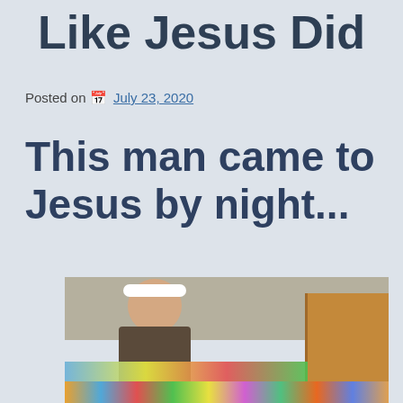Like Jesus Did
Posted on  July 23, 2020
This man came to Jesus by night...
[Figure (photo): A man wearing a white headband, appearing to be dressed in costume, standing in front of a painted banner with colorful people depicted on it, with a wooden cabinet/door visible in the background.]